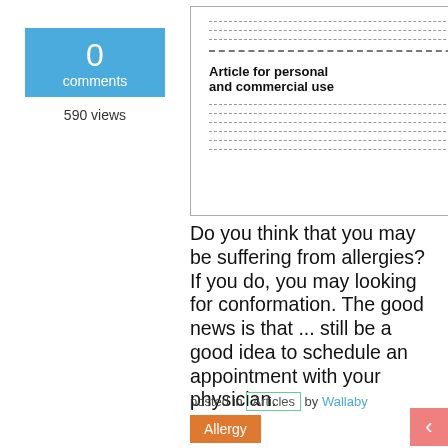0
comments
590 views
[Figure (illustration): Thumbnail image of a document with dashed lines and the caption 'Article for personal and commercial use']
Article for personal and commercial use
Do you think that you may be suffering from allergies? If you do, you may looking for conformation. The good news is that ... still be a good idea to schedule an appointment with your physician.
posted in Articles by Wallaby
Allergy